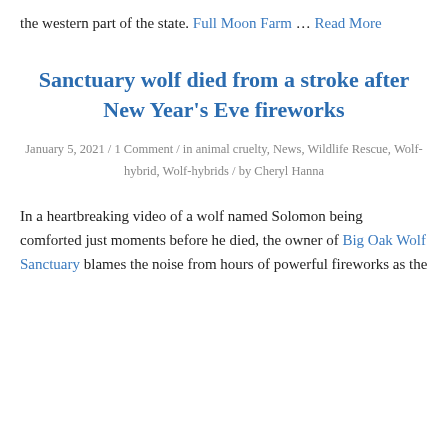the western part of the state. Full Moon Farm … Read More
Sanctuary wolf died from a stroke after New Year's Eve fireworks
January 5, 2021 / 1 Comment / in animal cruelty, News, Wildlife Rescue, Wolf-hybrid, Wolf-hybrids / by Cheryl Hanna
In a heartbreaking video of a wolf named Solomon being comforted just moments before he died, the owner of Big Oak Wolf Sanctuary blames the noise from hours of powerful fireworks as the